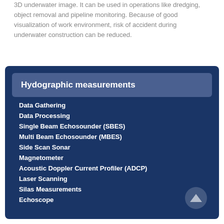3D underwater image. It can be used in operations like dredging, object removal and pipeline monitoring. Because of good visualization of work environment, risk of accident during underwater construction can be reduced.
Hydographic measurements
Data Gathering
Data Processing
Single Beam Echosounder (SBES)
Multi Beam Echosounder (MBES)
Side Scan Sonar
Magnetometer
Acoustic Doppler Current Profiler (ADCP)
Laser Scanning
Silas Measurements
Echoscope